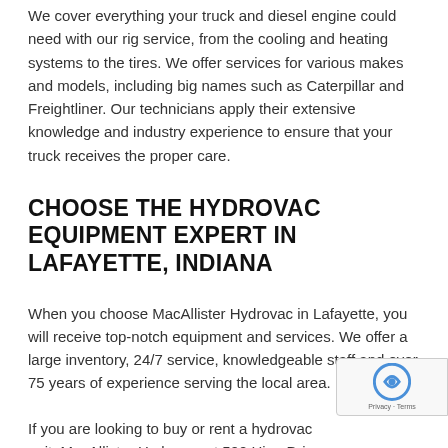We cover everything your truck and diesel engine could need with our rig service, from the cooling and heating systems to the tires. We offer services for various makes and models, including big names such as Caterpillar and Freightliner. Our technicians apply their extensive knowledge and industry experience to ensure that your truck receives the proper care.
CHOOSE THE HYDROVAC EQUIPMENT EXPERT IN LAFAYETTE, INDIANA
When you choose MacAllister Hydrovac in Lafayette, you will receive top-notch equipment and services. We offer a large inventory, 24/7 service, knowledgeable staff and over 75 years of experience serving the local area.
If you are looking to buy or rent a hydrovac unit, MacAllister Hydrovac at 500 Hine Drive in Lafayette is the perfect solution. For more information, feel free to contact us today at (76... 8101, or by using our online contact form!